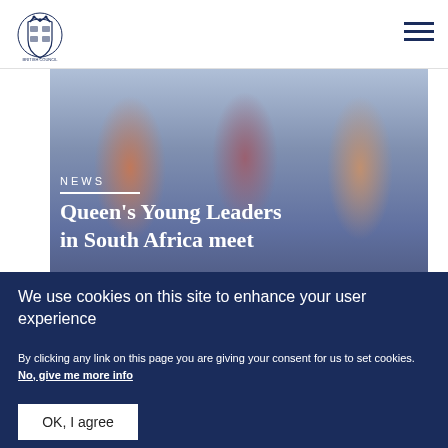UK Government / Commonwealth organization logo and navigation
[Figure (photo): Three smiling women photographed outdoors, used as hero image for news article about Queen's Young Leaders in South Africa]
NEWS
Queen's Young Leaders in South Africa meet
We use cookies on this site to enhance your user experience
By clicking any link on this page you are giving your consent for us to set cookies. No, give me more info
OK, I agree